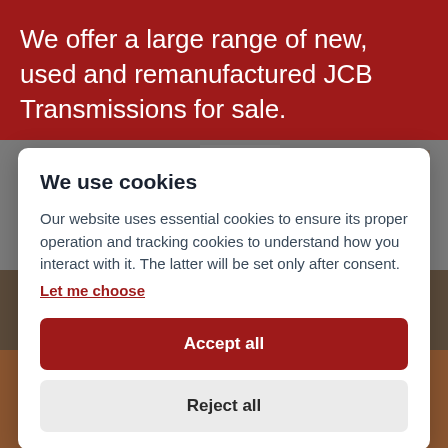We offer a large range of new, used and remanufactured JCB Transmissions for sale.
[Figure (photo): Background photo of a workshop or industrial setting with shelves and equipment visible]
We use cookies
Our website uses essential cookies to ensure its proper operation and tracking cookies to understand how you interact with it. The latter will be set only after consent.
Let me choose
Accept all
Reject all